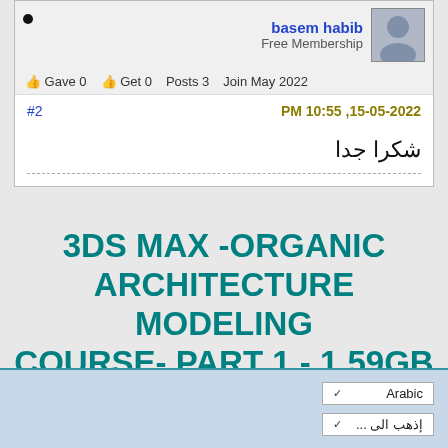basem habib
Free Membership
Gave 0  Get 0  Posts 3  Join May 2022
#2
15-05-2022, 10:55 PM
شكرا جدا
3DS MAX -ORGANIC ARCHITECTURE MODELING COURSE- PART 1 - 1.59GB
Arabic
إذهب الى...